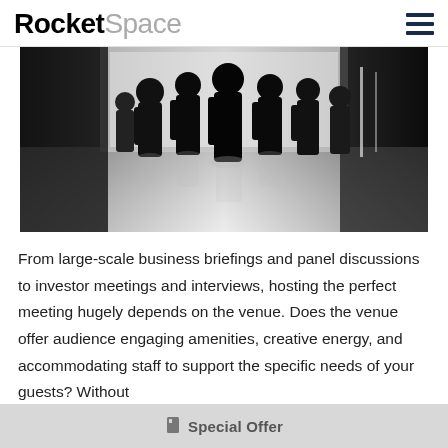RocketSpace
[Figure (photo): Black and white silhouette photo of a group of people standing and sitting in a brightly lit venue or conference room, viewed from a low angle against large windows.]
From large-scale business briefings and panel discussions to investor meetings and interviews, hosting the perfect meeting hugely depends on the venue. Does the venue offer audience engaging amenities, creative energy, and accommodating staff to support the specific needs of your guests? Without